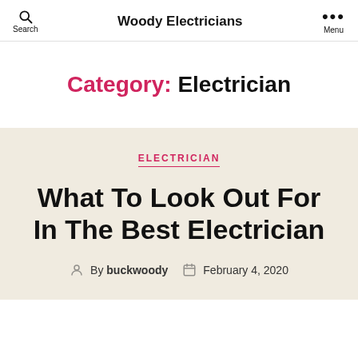Woody Electricians
Category: Electrician
ELECTRICIAN
What To Look Out For In The Best Electrician
By buckwoody  February 4, 2020